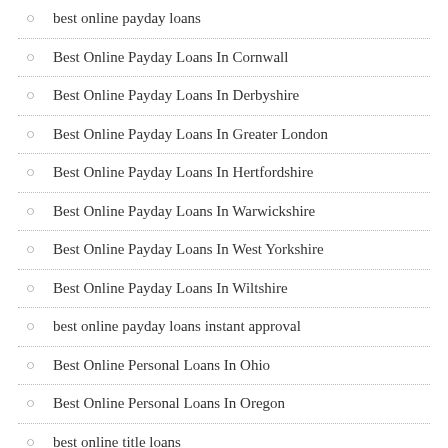best online payday loans
Best Online Payday Loans In Cornwall
Best Online Payday Loans In Derbyshire
Best Online Payday Loans In Greater London
Best Online Payday Loans In Hertfordshire
Best Online Payday Loans In Warwickshire
Best Online Payday Loans In West Yorkshire
Best Online Payday Loans In Wiltshire
best online payday loans instant approval
Best Online Personal Loans In Ohio
Best Online Personal Loans In Oregon
best online title loans